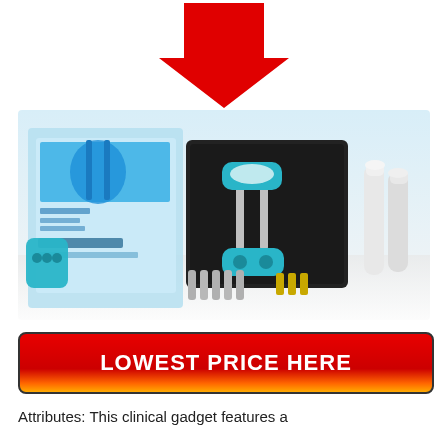[Figure (illustration): Large red downward-pointing arrow above the product image]
[Figure (photo): QuickExtender Pro product photo showing the device in a black presentation box, product packaging box on the left, and accessory components on the right, all on a white reflective surface]
[Figure (infographic): Red button with gradient text reading LOWEST PRICE HERE]
Attributes: This clinical gadget features a